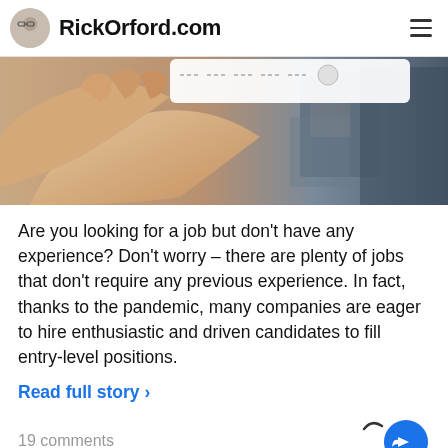RickOrford.com
[Figure (photo): Partially visible image showing a hand extended outward on the left side and blurred office/equipment background on the right. Top portion cut off with dashes/social media icons visible at top.]
Are you looking for a job but don't have any experience? Don't worry – there are plenty of jobs that don't require any previous experience. In fact, thanks to the pandemic, many companies are eager to hire enthusiastic and driven candidates to fill entry-level positions.
Read full story ›
19 comments